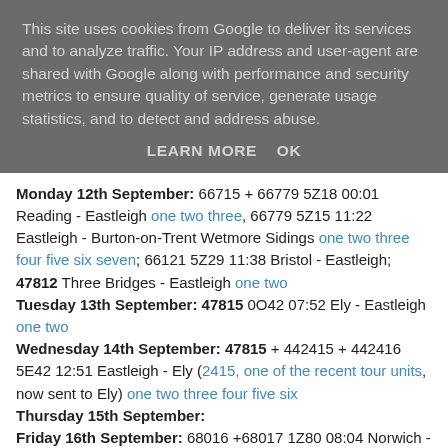This site uses cookies from Google to deliver its services and to analyze traffic. Your IP address and user-agent are shared with Google along with performance and security metrics to ensure quality of service, generate usage statistics, and to detect and address abuse.
LEARN MORE    OK
Monday 12th September: 66715 + 66779 5Z18 00:01 Reading - Eastleigh one two three, 66779 5Z15 11:22 Eastleigh - Burton-on-Trent Wetmore Sidings one two three four five six seven; 66121 5Z29 11:38 Bristol - Eastleigh; 47812 Three Bridges - Eastleigh one two Tuesday 13th September: 47815 0O42 07:52 Ely - Eastleigh one two Wednesday 14th September: 47815 + 442415 + 442416 5E42 12:51 Eastleigh - Ely (2415, one of the recent tour units, now sent to Ely) one two three four five six Thursday 15th September: Friday 16th September: 68016 +68017 1Z80 08:04 Norwich - Winchester one two three four five, 5Z80 13:12 Winchester - Eastleigh 5Z81 16:23 Eastleigh